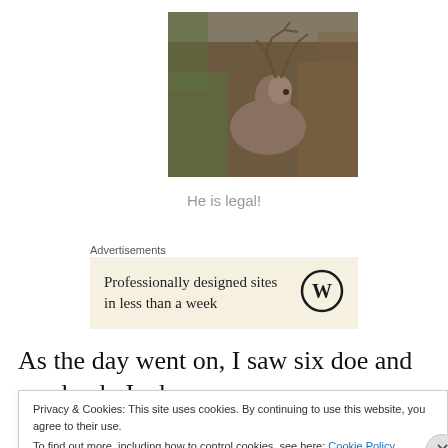[Figure (photo): A deer (buck with antlers) partially hidden in dense brown brush and vegetation, viewed from the side]
He is legal!
Advertisements
[Figure (infographic): Advertisement banner with beige background reading 'Professionally designed sites in less than a week' with a WordPress logo on the right]
As the day went on, I saw six doe and one buck. I, also,
saw some squirrels and watched a couple of pileated
Privacy & Cookies: This site uses cookies. By continuing to use this website, you agree to their use.
To find out more, including how to control cookies, see here: Cookie Policy
Close and accept